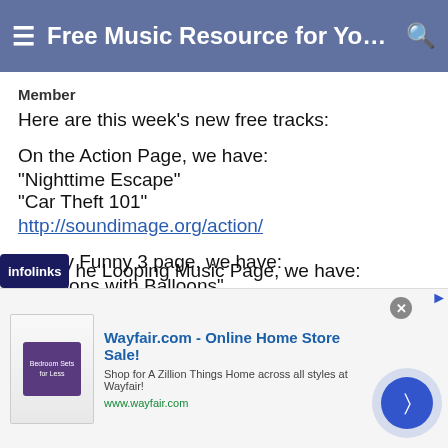≡ Free Music Resource for Your Vi... 🔍
Member
Here are this week's new free tracks:
On the Action Page, we have:
"Nighttime Escape"
"Car Theft 101"
http://soundimage.org/action/
On my Funny 3 page, we have:
"Baboons with Balloons"
http://soundimage.org/funny-3/
On the Looping Music Page, we have:
[Figure (screenshot): Wayfair.com advertisement banner showing bedroom furniture with headline 'Wayfair.com - Online Home Store Sale!' and subtitle 'Shop for A Zillion Things Home across all styles at Wayfair!' and URL www.wayfair.com, with a navigation arrow button on the right.]